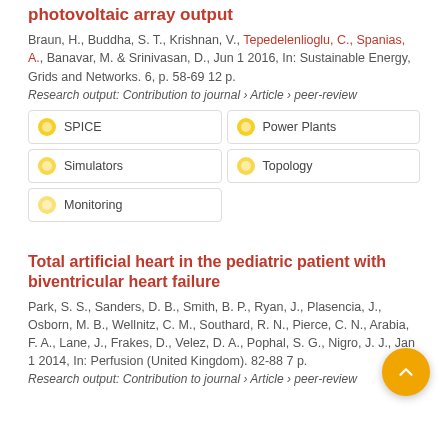Topology, reconfiguration and optimization of photovoltaic array output
Braun, H., Buddha, S. T., Krishnan, V., Tepedelenlioglu, C., Spanias, A., Banavar, M. & Srinivasan, D., Jun 1 2016, In: Sustainable Energy, Grids and Networks. 6, p. 58-69 12 p.
Research output: Contribution to journal › Article › peer-review
SPICE
Power Plants
Simulators
Topology
Monitoring
Total artificial heart in the pediatric patient with biventricular heart failure
Park, S. S., Sanders, D. B., Smith, B. P., Ryan, J., Plasencia, J., Osborn, M. B., Wellnitz, C. M., Southard, R. N., Pierce, C. N., Arabia, F. A., Lane, J., Frakes, D., Velez, D. A., Pophal, S. G., Nigro, J. J., Jan 1 2014, In: Perfusion (United Kingdom). 82-88 7 p.
Research output: Contribution to journal › Article › peer-review